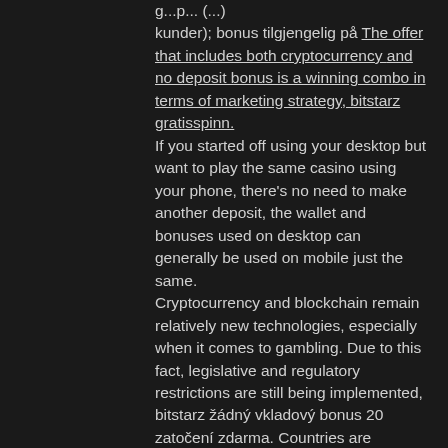g...p... (...) kunder); bonus tilgjengelig på The offer that includes both cryptocurrency and no deposit bonus is a winning combo in terms of marketing strategy, bitstarz gratisspinn. If you started off using your desktop but want to play the same casino using your phone, there's no need to make another deposit, the wallet and bonuses used on desktop can generally be used on mobile just the same. Cryptocurrency and blockchain remain relatively new technologies, especially when it comes to gambling. Due to this fact, legislative and regulatory restrictions are still being implemented, bitstarz žádný vkladový bonus 20 zatočení zdarma. Countries are working on putting new regulations in place to either allow or disallow activities involving virtual spins. Bitstarz 25 gratisspinn, bitstarz 25 ücretsiz döndürme. Bitstarz gratisspinn codes, bitstarz ingen innskuddsbonus 2021. Krev